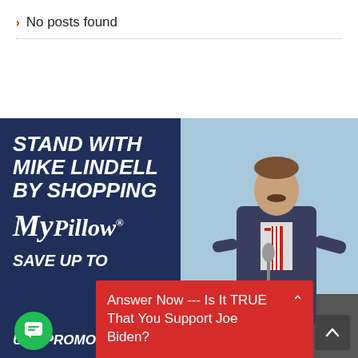> No posts found
[Figure (photo): Advertisement for MyPillow featuring text 'STAND WITH MIKE LINDELL BY SHOPPING MyPillow® SAVE UP TO...' on dark blue background on left, and a photo of Mike Lindell speaking at a microphone on the right. Overlaid with a red popup reading 'Answer Now --- Is It TRUE That You Support Joe Biden?' and a green chat icon button at bottom left and a back-to-top arrow at bottom right.]